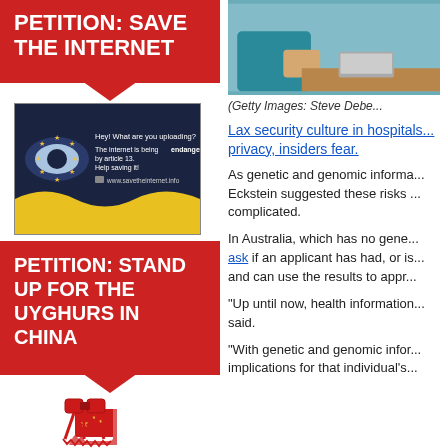PETITION: SAVE THE INTERNET
[Figure (illustration): Save the Internet banner with EU eye logo and text about Article 13]
PETITION: STAND UP FOR THE UYGHURS IN CHINA
[Figure (illustration): Never Again Right Now infographic with Chinese flag motif]
[Figure (photo): Person in medical/professional setting, partially visible]
(Getty Images: Steve Debe...
Lax security culture in hospitals... privacy, insiders fear.
As genetic and genomic informa... Eckstein suggested these risks ... complicated.
In Australia, which has no gene... ask if an applicant has had, or is... and can use the results to appr...
"Up until now, health information... said.
"With genetic and genomic infor... implications for that individual's...